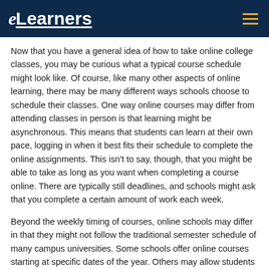eLearners
Now that you have a general idea of how to take online college classes, you may be curious what a typical course schedule might look like. Of course, like many other aspects of online learning, there may be many different ways schools choose to schedule their classes. One way online courses may differ from attending classes in person is that learning might be asynchronous. This means that students can learn at their own pace, logging in when it best fits their schedule to complete the online assignments. This isn't to say, though, that you might be able to take as long as you want when completing a course online. There are typically still deadlines, and schools might ask that you complete a certain amount of work each week.
Beyond the weekly timing of courses, online schools may differ in that they might not follow the traditional semester schedule of many campus universities. Some schools offer online courses starting at specific dates of the year. Others may allow students to start